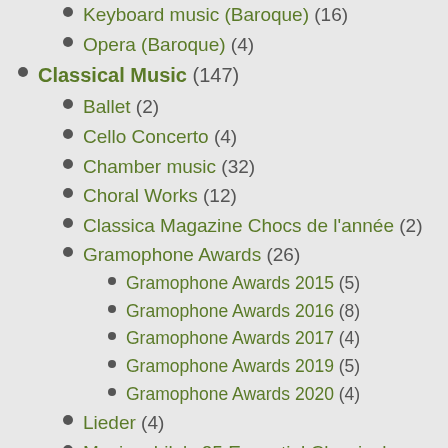Keyboard music (Baroque) (16)
Opera (Baroque) (4)
Classical Music (147)
Ballet (2)
Cello Concerto (4)
Chamber music (32)
Choral Works (12)
Classica Magazine Chocs de l'année (2)
Gramophone Awards (26)
Gramophone Awards 2015 (5)
Gramophone Awards 2016 (8)
Gramophone Awards 2017 (4)
Gramophone Awards 2019 (5)
Gramophone Awards 2020 (4)
Lieder (4)
Musicophile's 25 Essential Classical Albums (2)